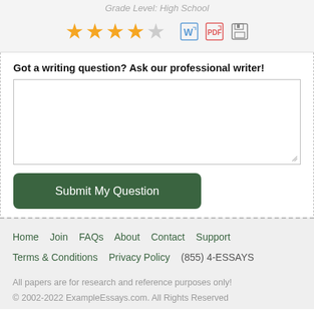Grade Level: High School
[Figure (other): 4 filled gold stars and 1 empty star rating, plus Word doc, PDF, and save icons]
Got a writing question? Ask our professional writer!
[text area input box]
Submit My Question
Home   Join   FAQs   About   Contact   Support   Terms & Conditions   Privacy Policy   (855) 4-ESSAYS
All papers are for research and reference purposes only!
© 2002-2022 ExampleEssays.com. All Rights Reserved